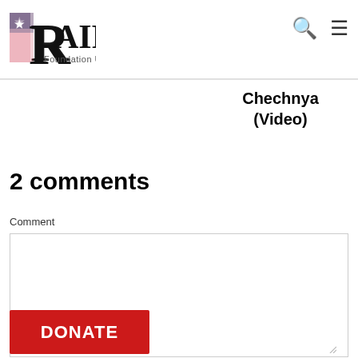RAIR Foundation USA
Chechnya (Video)
2 comments
Comment
[Figure (screenshot): Empty comment text area input box]
[Figure (other): Red DONATE button]